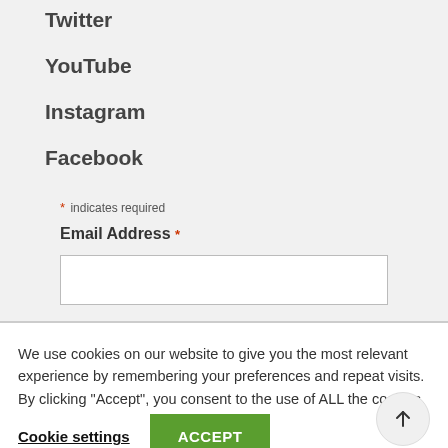Twitter
YouTube
Instagram
Facebook
* indicates required
Email Address *
We use cookies on our website to give you the most relevant experience by remembering your preferences and repeat visits. By clicking “Accept”, you consent to the use of ALL the cookies.
Cookie settings
ACCEPT